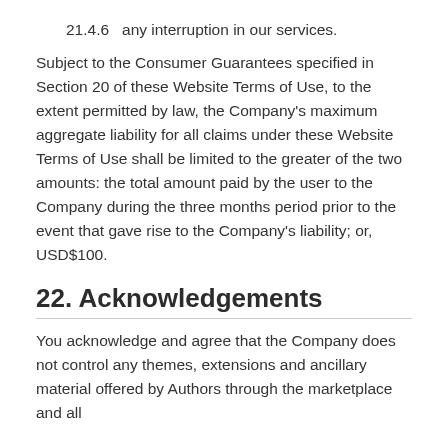21.4.6  any interruption in our services.
Subject to the Consumer Guarantees specified in Section 20 of these Website Terms of Use, to the extent permitted by law, the Company's maximum aggregate liability for all claims under these Website Terms of Use shall be limited to the greater of the two amounts: the total amount paid by the user to the Company during the three months period prior to the event that gave rise to the Company's liability; or, USD$100.
22. Acknowledgements
You acknowledge and agree that the Company does not control any themes, extensions and ancillary material offered by Authors through the marketplace and all